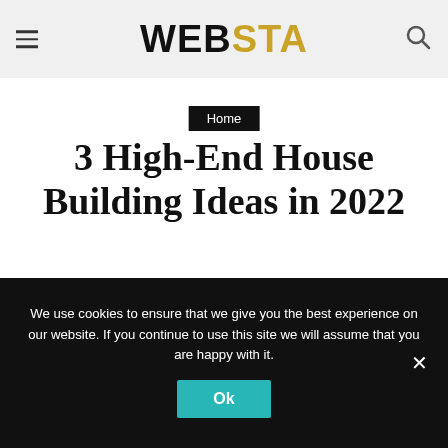WEBSTA
Home
3 High-End House Building Ideas in 2022
Madeline Robinson • August 5, 2021
We use cookies to ensure that we give you the best experience on our website. If you continue to use this site we will assume that you are happy with it.
Ok